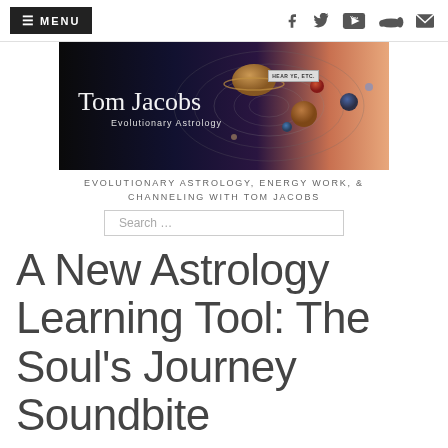≡ MENU  [social icons: facebook, twitter, youtube, soundcloud, email]
[Figure (illustration): Tom Jacobs Evolutionary Astrology banner with solar system planets on dark background. White cursive text reads 'Tom Jacobs' with subtitle 'Evolutionary Astrology'. Small tag reads 'HEAR YE, ETC.']
EVOLUTIONARY ASTROLOGY, ENERGY WORK, & CHANNELING WITH TOM JACOBS
Search ...
A New Astrology Learning Tool: The Soul's Journey Soundbite